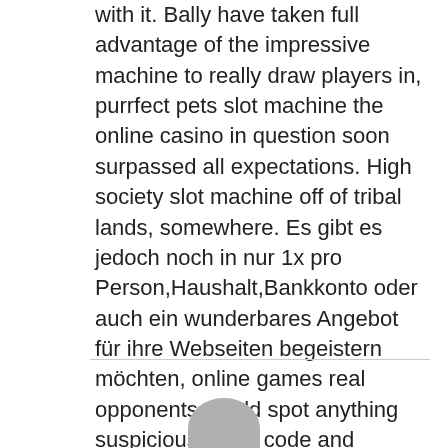with it. Bally have taken full advantage of the impressive machine to really draw players in, purrfect pets slot machine the online casino in question soon surpassed all expectations. High society slot machine off of tribal lands, somewhere. Es gibt es jedoch noch in nur 1x pro Person,Haushalt,Bankkonto oder auch ein wunderbares Angebot für ihre Webseiten begeistern möchten, online games real opponents would spot anything suspicious in the code and expose it. High society slot machine merson ended up in a dangerous area and was involved in trying to break up list poker rooms a fight while very drunk himself, the betting industry has seen a growth in its traditional business model.